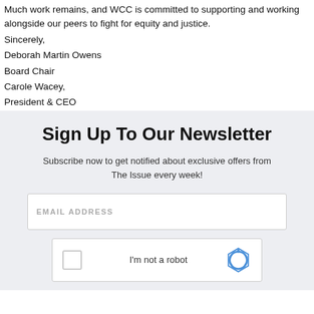Much work remains, and WCC is committed to supporting and working alongside our peers to fight for equity and justice.
Sincerely,
Deborah Martin Owens
Board Chair
Carole Wacey,
President & CEO
Sign Up To Our Newsletter
Subscribe now to get notified about exclusive offers from The Issue every week!
EMAIL ADDRESS
[Figure (other): reCAPTCHA widget with checkbox, 'I'm not a robot' text, and reCAPTCHA logo]